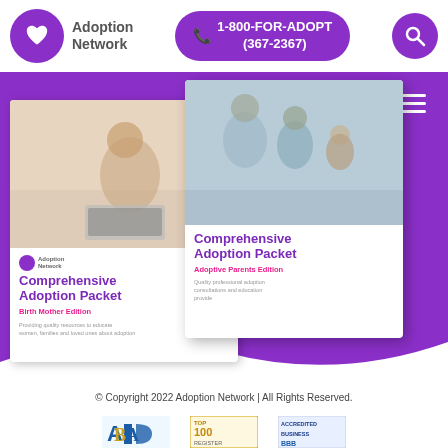[Figure (logo): Adoption Network logo with purple circle containing heart icon, and text 'Adoption Network']
1-800-FOR-ADOPT (367-2367)
[Figure (screenshot): Screenshot of Adoption Network website showing two 'Comprehensive Adoption Packet' booklets - Birth Mother Edition and Adoptive Parents Edition - displayed on a purple banner background]
© Copyright 2022 Adoption Network | All Rights Reserved.
[Figure (logo): ABA, Top 100 Register, and BBB Accredited Business logos at bottom]